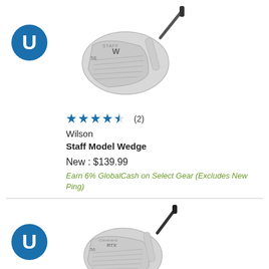[Figure (photo): Wilson Staff Model Wedge golf club, silver/chrome finish, shown at angle]
[Figure (logo): Golf Galaxy / U logo - blue circle with white U]
★★★★★ (2)
Wilson
Staff Model Wedge
New : $139.99
Earn 6% GlobalCash on Select Gear (Excludes New Ping)
[Figure (photo): Cleveland RTX ZipCore wedge golf club, silver/chrome finish, shown at angle]
[Figure (logo): Golf Galaxy / U logo - blue circle with white U]
★★★★★ (3)